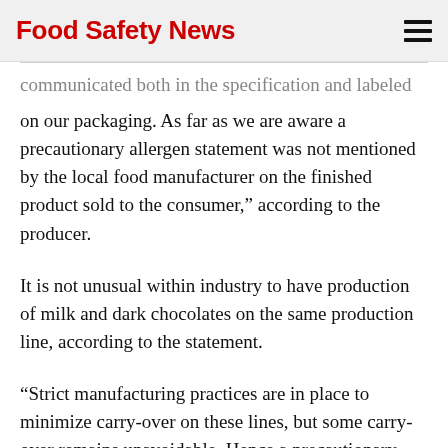Food Safety News
communicated both in the specification and labeled on our packaging. As far as we are aware a precautionary allergen statement was not mentioned by the local food manufacturer on the finished product sold to the consumer,” according to the producer.
It is not unusual within industry to have production of milk and dark chocolates on the same production line, according to the statement.
“Strict manufacturing practices are in place to minimize carry-over on these lines, but some carry-over remains unavoidable. Hence a precautionary allergen declaration on the presence of milk is clearly